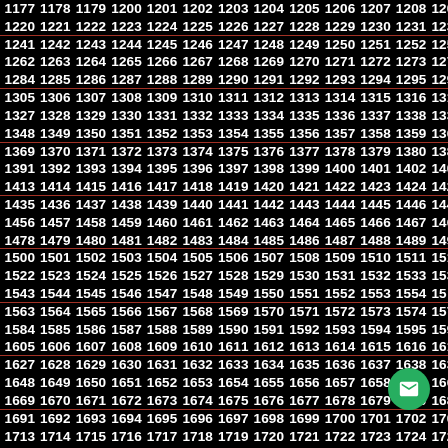Sequential number grid from approximately 1177 to 1900+, displayed in rows across a black background with periodic red ruled lines.